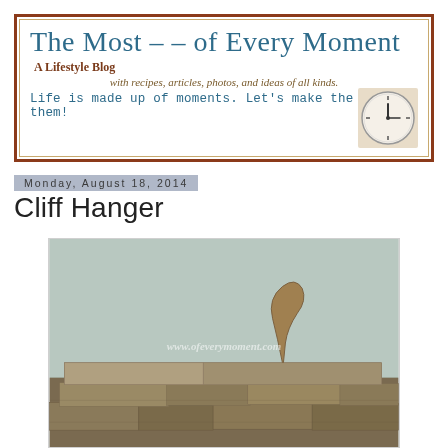[Figure (other): Blog header banner with title 'The Most - - of Every Moment', subtitle 'A Lifestyle Blog', italic tagline 'with recipes, articles, photos, and ideas of all kinds.', and slogan 'Life is made up of moments. Let's make the most of them!' with a clock illustration on the right.]
Monday, August 18, 2014
Cliff Hanger
[Figure (photo): Photo of a lizard or reptile tail visible above a stone wall made of stacked rocks, against a pale grey-blue sky. Watermark 'www.ofeverymoment.com' overlaid on the image.]